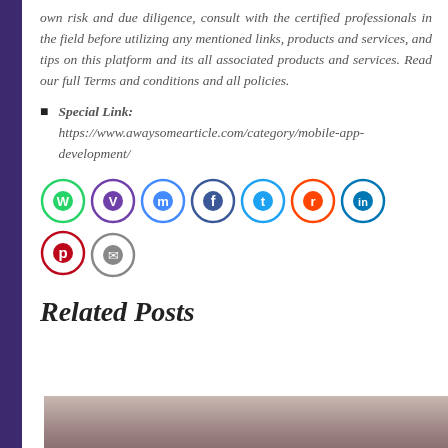own risk and due diligence, consult with the certified professionals in the field before utilizing any mentioned links, products and services, and tips on this platform and its all associated products and services. Read our full Terms and conditions and all policies.
Special Link: https://www.awaysomearticle.com/category/mobile-app-development/
[Figure (infographic): Row of social media share icon buttons: WhatsApp (green), Viber (purple), Messenger (blue gradient), Facebook (dark blue), Twitter (cyan), Reddit (orange), LinkedIn (blue), Pinterest (red), Email (gray)]
Related Posts
[Figure (photo): Bottom portion of a photo showing a person, partially visible]